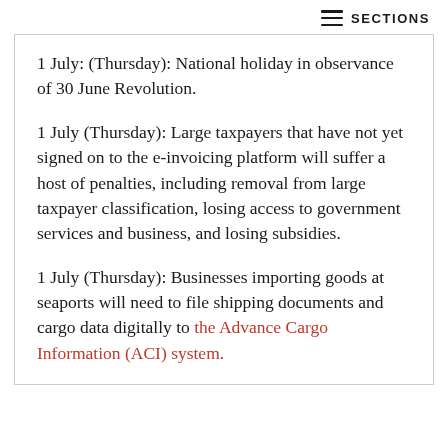SECTIONS
1 July: (Thursday): National holiday in observance of 30 June Revolution.
1 July (Thursday): Large taxpayers that have not yet signed on to the e-invoicing platform will suffer a host of penalties, including removal from large taxpayer classification, losing access to government services and business, and losing subsidies.
1 July (Thursday): Businesses importing goods at seaports will need to file shipping documents and cargo data digitally to the Advance Cargo Information (ACI) system.